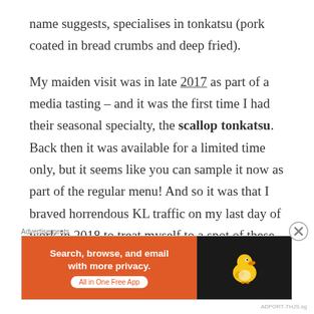name suggests, specialises in tonkatsu (pork coated in bread crumbs and deep fried).
My maiden visit was in late 2017 as part of a media tasting – and it was the first time I had their seasonal specialty, the scallop tonkatsu. Back then it was available for a limited time only, but it seems like you can sample it now as part of the regular menu! And so it was that I braved horrendous KL traffic on my last day of work in 2018 to treat myself to a spot of these sweet ocean treasures. 😀
Advertisements
[Figure (other): DuckDuckGo advertisement banner: orange left section with text 'Search, browse, and email with more privacy. All in One Free App' and dark right section with DuckDuckGo duck logo]